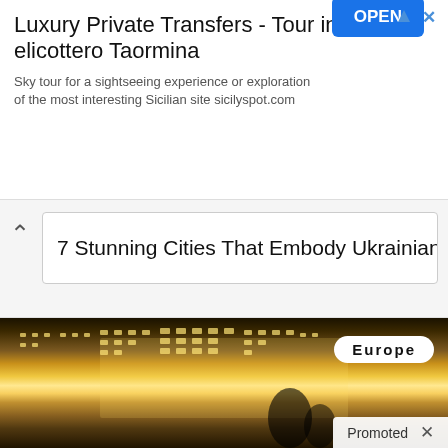[Figure (screenshot): Advertisement banner for Luxury Private Transfers - Tour in elicottero Taormina with OPEN button]
Luxury Private Transfers - Tour in elicottero Taormina
Sky tour for a sightseeing experience or exploration of the most interesting Sicilian site sicilyspot.com
7 Stunning Cities That Embody Ukrainian Culture
[Figure (photo): Illuminated European city building at night with Europe label badge and Promoted tag]
Europe
Promoted
[Figure (photo): Interior of futuristic SUV concept car]
All-New SUVs For Seniors (Take A Look At The Pricing)
2,797
[Figure (photo): Close-up of open mouth with tongue and a small blue pill, with play button overlay]
4 Worst Blood Pressure Drugs (Avoid At All Costs)
58,838